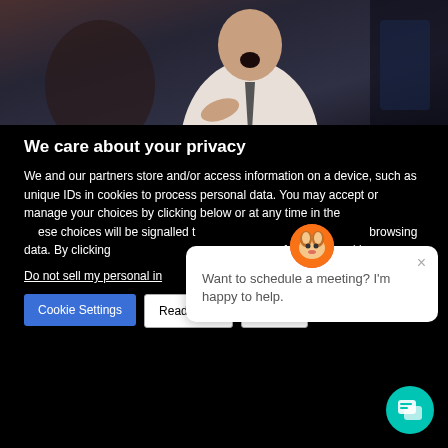[Figure (photo): A man in a white dress shirt and gray tie with mouth open in surprise, seated, shot in dark cinematic lighting]
We care about your privacy
We and our partners store and/or access information on a device, such as unique IDs in cookies to process personal data. You may accept or manage your choices by clicking below or at any time in the privacy policy. These choices will be signalled to our partners and will not affect browsing data. By clicking accept you consent to the use of ALL the cookies.
Do not sell my personal in…
Want to schedule a meeting? I'm happy to help.